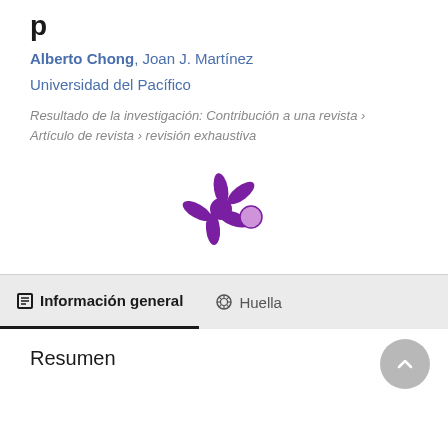p
Alberto Chong, Joan J. Martínez
Universidad del Pacífico
Resultado de la investigación: Contribución a una revista › Artículo de revista › revisión exhaustiva
[Figure (logo): Altmetric logo — purple asterisk/splat shape with a small purple filled circle to its right]
Información general
Huella
Resumen